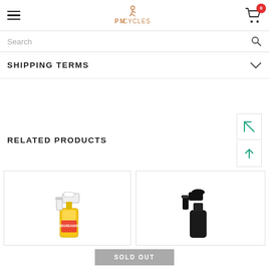PM Cycles — navigation header with hamburger menu, logo, and cart (0 items)
Search
SHIPPING TERMS
RELATED PRODUCTS
[Figure (photo): Yellow spray bottle of Progold Degreaser product]
[Figure (photo): Black spray bottle / trigger sprayer]
SOLD OUT